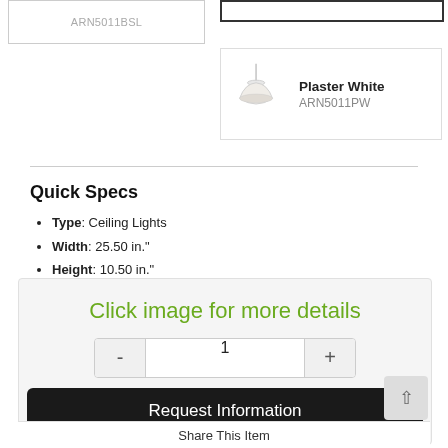[Figure (photo): Product card left: amber/bronze pendant light, code ARN5011BSL]
ARN5011BSL
[Figure (photo): Product card top-right: amber pendant light (bordered)]
[Figure (photo): Product card bottom-right: plaster white pendant light, Plaster White ARN5011PW]
Plaster White
ARN5011PW
Quick Specs
Type: Ceiling Lights
Width: 25.50 in."
Height: 10.50 in."
Click image for more details
1
Request Information
Share This Item